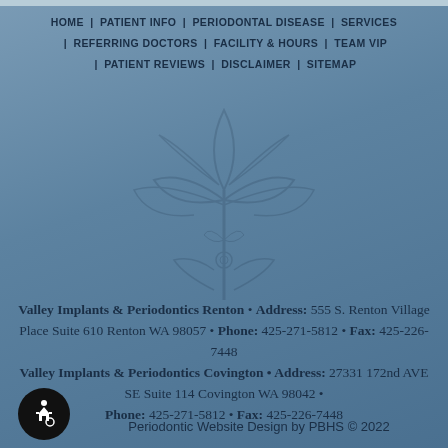HOME | PATIENT INFO | PERIODONTAL DISEASE | SERVICES | REFERRING DOCTORS | FACILITY & HOURS | TEAM VIP | PATIENT REVIEWS | DISCLAIMER | SITEMAP
[Figure (illustration): Decorative fleur-de-lis / flourish watermark in muted blue, centered on the page background]
Valley Implants & Periodontics Renton • Address: 555 S. Renton Village Place Suite 610 Renton WA 98057 • Phone: 425-271-5812 • Fax: 425-226-7448 Valley Implants & Periodontics Covington • Address: 27331 172nd AVE SE Suite 114 Covington WA 98042 • Phone: 425-271-5812 • Fax: 425-226-7448
Periodontic Website Design by PBHS © 2022